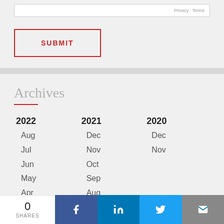[Figure (screenshot): reCAPTCHA privacy terms bar]
SUBMIT
Archives
2022: Aug, Jul, Jun, May, Apr, Mar, Feb, Jan
2021: Dec, Nov, Oct, Sep, Aug, Jul, Jun, May
2020: Dec, Nov
0 SHARES | Facebook | LinkedIn | Twitter | Email